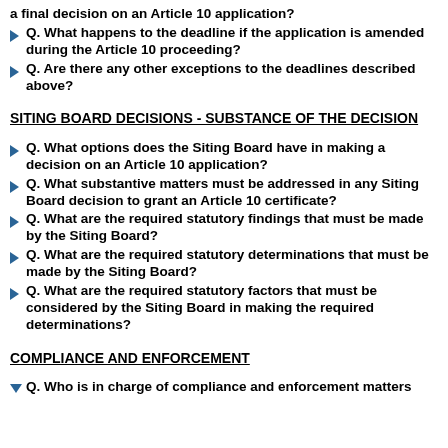Q. What happens to the deadline if the application is amended during the Article 10 proceeding?
Q. Are there any other exceptions to the deadlines described above?
SITING BOARD DECISIONS - SUBSTANCE OF THE DECISION
Q. What options does the Siting Board have in making a decision on an Article 10 application?
Q. What substantive matters must be addressed in any Siting Board decision to grant an Article 10 certificate?
Q. What are the required statutory findings that must be made by the Siting Board?
Q. What are the required statutory determinations that must be made by the Siting Board?
Q. What are the required statutory factors that must be considered by the Siting Board in making the required determinations?
COMPLIANCE AND ENFORCEMENT
Q. Who is in charge of compliance and enforcement matters